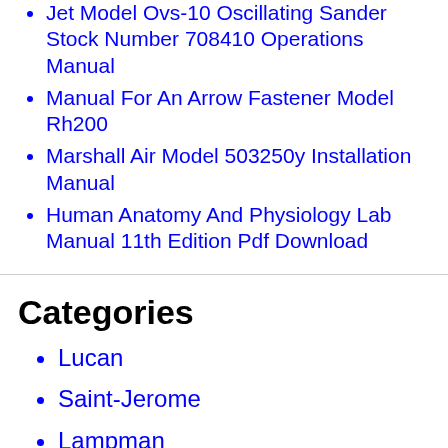Jet Model Ovs-10 Oscillating Sander Stock Number 708410 Operations Manual
Manual For An Arrow Fastener Model Rh200
Marshall Air Model 503250y Installation Manual
Human Anatomy And Physiology Lab Manual 11th Edition Pdf Download
Categories
Lucan
Saint-Jerome
Lampman
Val Harbour